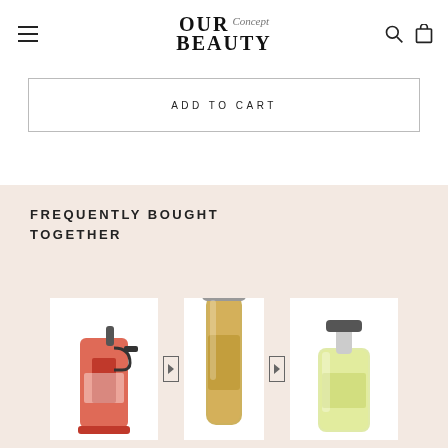OUR BEAUTY Concept
ADD TO CART
FREQUENTLY BOUGHT TOGETHER
[Figure (photo): Three hair/beauty product photos: a spray bottle, a tall aerosol spray, and a pump bottle]
[Figure (photo): Slim aerosol hair spray product in gold packaging]
[Figure (photo): Pump bottle of beauty/hair product in light yellow/green packaging]